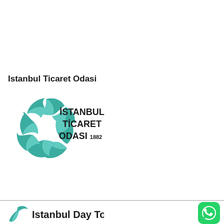Istanbul Ticaret Odasi
[Figure (logo): Istanbul Ticaret Odasi logo: teal geometric swirl emblem on left, bold text reading İSTANBUL TİCARET ODASI 1882 on right]
[Figure (logo): Istanbul Day Tours logo: partial teal bird/figure icon on left, bold text reading Istanbul Day Tours on right, with WhatsApp green rounded square icon on far right]